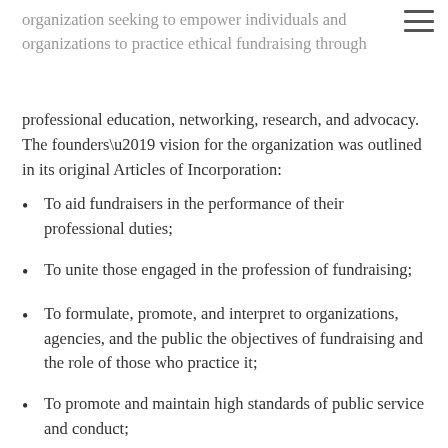organization seeking to empower individuals and organizations to practice ethical fundraising through
professional education, networking, research, and advocacy. The founders’ vision for the organization was outlined in its original Articles of Incorporation:
To aid fundraisers in the performance of their professional duties;
To unite those engaged in the profession of fundraising;
To formulate, promote, and interpret to organizations, agencies, and the public the objectives of fundraising and the role of those who practice it;
To promote and maintain high standards of public service and conduct;
To exchange ideas and experiences and to collect and